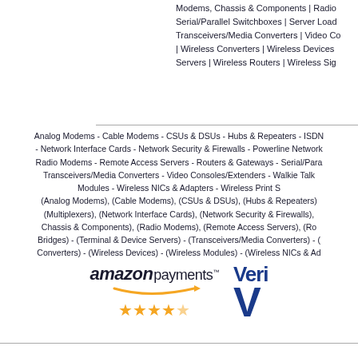Modems, Chassis & Components | Radio Serial/Parallel Switchboxes | Server Load Transceivers/Media Converters | Video Co | Wireless Converters | Wireless Devices Servers | Wireless Routers | Wireless Sig
Analog Modems - Cable Modems - CSUs & DSUs - Hubs & Repeaters - ISDN - Network Interface Cards - Network Security & Firewalls - Powerline Network Radio Modems - Remote Access Servers - Routers & Gateways - Serial/Para Transceivers/Media Converters - Video Consoles/Extenders - Walkie Talk Modules - Wireless NICs & Adapters - Wireless Print S (Analog Modems), (Cable Modems), (CSUs & DSUs), (Hubs & Repeaters) (Multiplexers), (Network Interface Cards), (Network Security & Firewalls), Chassis & Components), (Radio Modems), (Remote Access Servers), (Ro Bridges) - (Terminal & Device Servers) - (Transceivers/Media Converters) - ( Converters) - (Wireless Devices) - (Wireless Modules) - (Wireless NICs & Ad
[Figure (logo): Amazon Payments logo with orange arrow and 4.5 star rating, and VeriSign logo partial view]